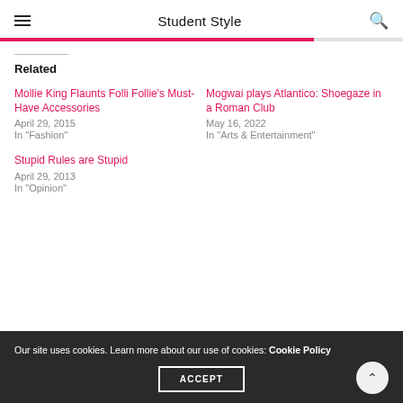Student Style
Related
Mollie King Flaunts Folli Follie's Must-Have Accessories
April 29, 2015
In "Fashion"
Mogwai plays Atlantico: Shoegaze in a Roman Club
May 16, 2022
In "Arts & Entertainment"
Stupid Rules are Stupid
April 29, 2013
In "Opinion"
Our site uses cookies. Learn more about our use of cookies: Cookie Policy